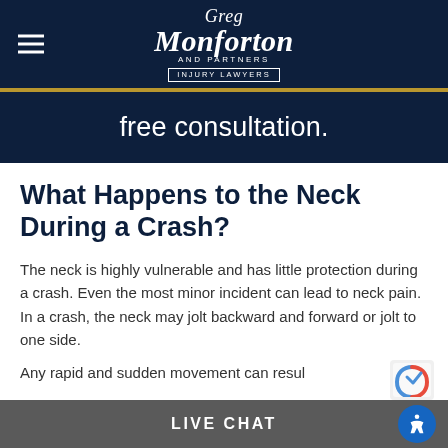Greg Monforton and Partners Injury Lawyers
free consultation.
What Happens to the Neck During a Crash?
The neck is highly vulnerable and has little protection during a crash. Even the most minor incident can lead to neck pain. In a crash, the neck may jolt backward and forward or jolt to one side.
Any rapid and sudden movement can resul
LIVE CHAT